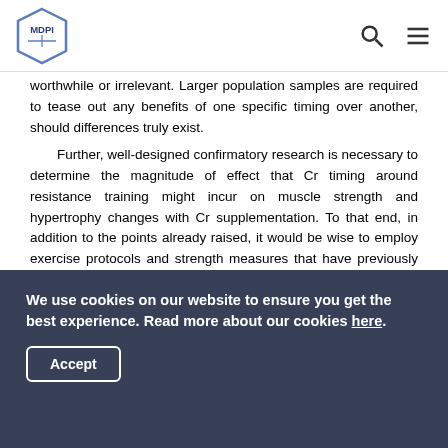MDPI
worthwhile or irrelevant. Larger population samples are required to tease out any benefits of one specific timing over another, should differences truly exist.
Further, well-designed confirmatory research is necessary to determine the magnitude of effect that Cr timing around resistance training might incur on muscle strength and hypertrophy changes with Cr supplementation. To that end, in addition to the points already raised, it would be wise to employ exercise protocols and strength measures that have previously shown robust and clear effects following Cr supplementation (e.g., 1-RM test and/or resistance training program) to quantify the size of the contribution of timing to outcomes. The use of
We use cookies on our website to ensure you get the best experience. Read more about our cookies here.
Accept